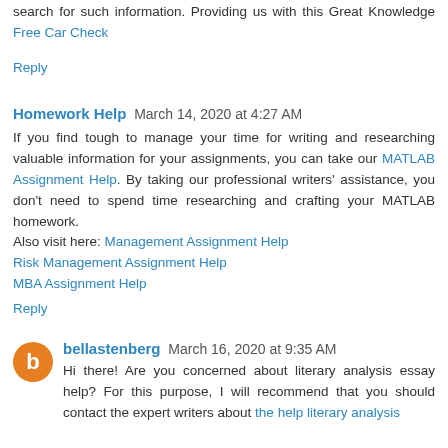search for such information. Providing us with this great Knowledge Free Car Check
Reply
Homework Help  March 14, 2020 at 4:27 AM
If you find tough to manage your time for writing and researching valuable information for your assignments, you can take our MATLAB Assignment Help. By taking our professional writers' assistance, you don't need to spend time researching and crafting your MATLAB homework. Also visit here: Management Assignment Help Risk Management Assignment Help MBA Assignment Help
Reply
bellastenberg  March 16, 2020 at 9:35 AM
Hi there! Are you concerned about literary analysis essay help? For this purpose, I will recommend that you should contact the expert writers about the help literary analysis